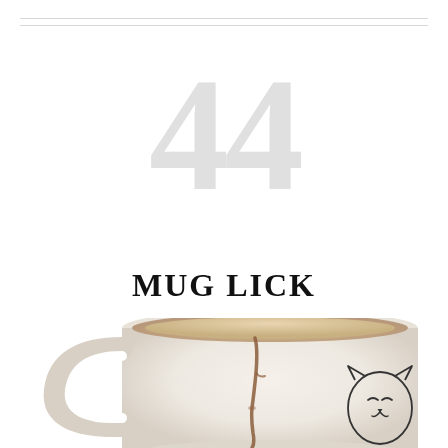44
MUG LICK
[Figure (photo): Close-up photograph of a cream-colored ceramic mug with a handle on the left side, containing a light-colored liquid (likely coffee or tea). A brown liquid drip/stain runs down the outside of the mug. A simple line-drawing of a cat face is visible on the lower right side of the mug. The photo is cropped showing only the top and middle portion of the mug against a white background.]